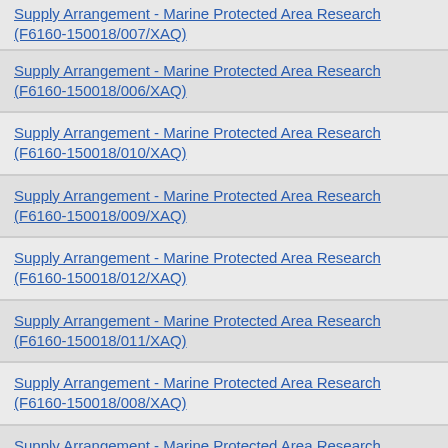Supply Arrangement - Marine Protected Area Research (F6160-150018/007/XAQ)
Supply Arrangement - Marine Protected Area Research (F6160-150018/006/XAQ)
Supply Arrangement - Marine Protected Area Research (F6160-150018/010/XAQ)
Supply Arrangement - Marine Protected Area Research (F6160-150018/009/XAQ)
Supply Arrangement - Marine Protected Area Research (F6160-150018/012/XAQ)
Supply Arrangement - Marine Protected Area Research (F6160-150018/011/XAQ)
Supply Arrangement - Marine Protected Area Research (F6160-150018/008/XAQ)
Supply Arrangement - Marine Protected Area Research (F6160-150018/016/XAQ)
Supply Arrangement - Marine Protected Area Research (F6160-150018/015/XAQ)